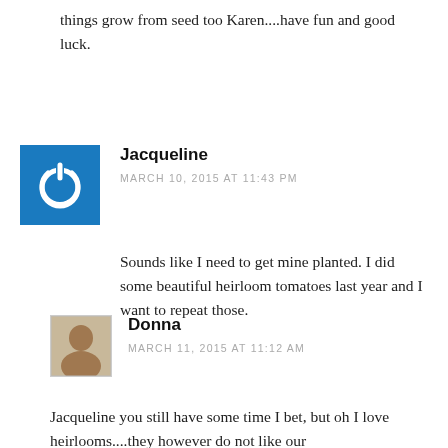things grow from seed too Karen....have fun and good luck.
Jacqueline
MARCH 10, 2015 AT 11:43 PM
Sounds like I need to get mine planted. I did some beautiful heirloom tomatoes last year and I want to repeat those.
Donna
MARCH 11, 2015 AT 11:12 AM
Jacqueline you still have some time I bet, but oh I love heirlooms....they however do not like our